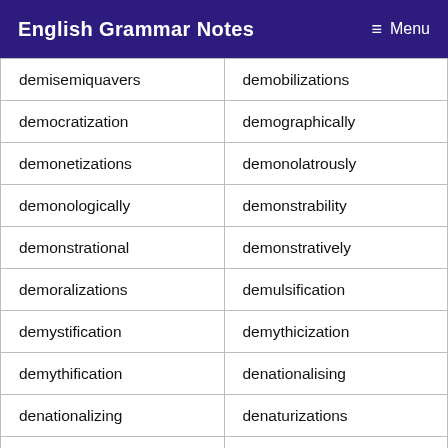English Grammar Notes   ☰ Menu
| demisemiquavers | demobilizations |
| democratization | demographically |
| demonetizations | demonolatrously |
| demonologically | demonstrability |
| demonstrational | demonstratively |
| demoralizations | demulsification |
| demystification | demythicization |
| demythification | denationalising |
| denationalizing | denaturizations |
|  |  |